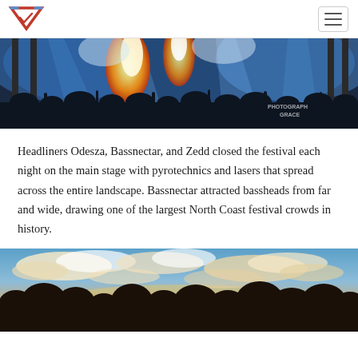Navigation header with logo and hamburger menu
[Figure (photo): Concert photo with pyrotechnics, blue and white stage lighting, silhouettes of crowd, fire and smoke effects, with watermark text 'PHOTOGRAPH GRACE']
Headliners Odesza, Bassnectar, and Zedd closed the festival each night on the main stage with pyrotechnics and lasers that spread across the entire landscape. Bassnectar attracted bassheads from far and wide, drawing one of the largest North Coast festival crowds in history.
[Figure (photo): Outdoor festival photo showing a dramatic sunset sky with golden and blue tones, clouds, and silhouetted trees in the foreground]